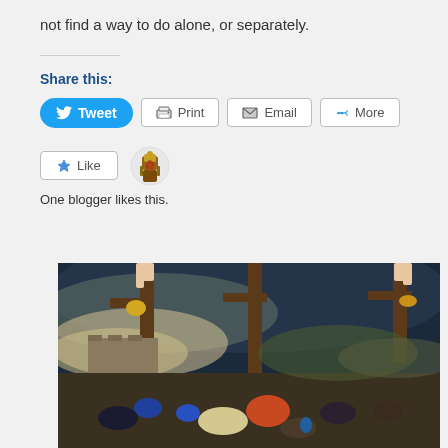not find a way to do alone, or separately.
Share this:
Tweet  Print  Email  More
Like
One blogger likes this.
[Figure (photo): A painting depicting a crucifixion scene with people gathered below wooden crosses, dark stormy sky in the background, stone walls and landscape visible.]